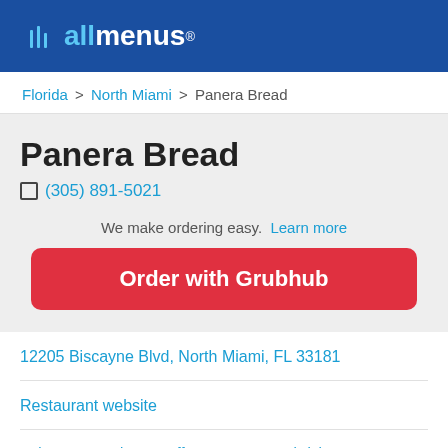allmenus
Florida > North Miami > Panera Bread
Panera Bread
(305) 891-5021
We make ordering easy.  Learn more
Order with Grubhub
12205 Biscayne Blvd, North Miami, FL 33181
Restaurant website
Bakery & Pastries   Coffee & Tea   Sandwiches   Soups